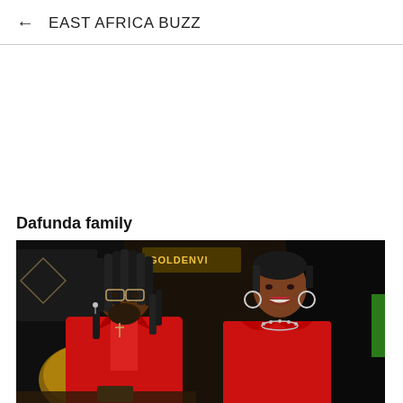← EAST AFRICA BUZZ
Dafunda family
[Figure (photo): Two people dressed in red outfits sitting together in what appears to be a lounge or nightclub setting. The man on the left has long dreadlocks, a beard, glasses, and is wearing a red blazer with a cross necklace. The woman on the right has short hair, hoop earrings, a necklace, and is wearing a red dress. A neon sign is visible in the background.]